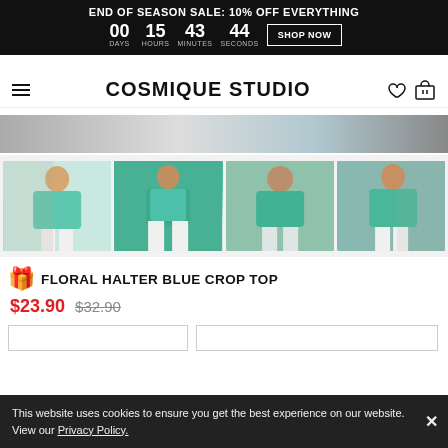END OF SEASON SALE: 10% OFF EVERYTHING | 00 DAYS 15 HOURS 43 MINUTES 44 SECONDS | SHOP NOW
COSMIQUE STUDIO
[Figure (photo): Partial view of a person in white clothing, hero banner image]
[Figure (photo): Four product photos showing women wearing a teal/mint floral halter blue crop top in outdoor settings]
FLORAL HALTER BLUE CROP TOP
$23.90  $32.90
This website uses cookies to ensure you get the best experience on our website. View our Privacy Policy.